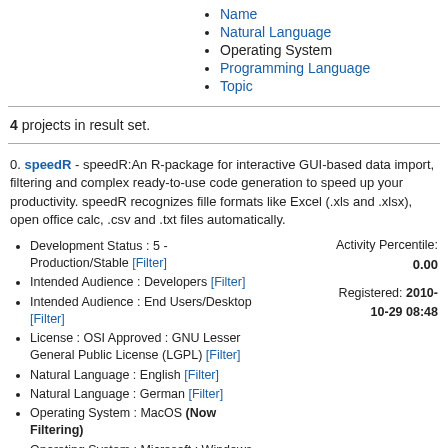Name
Natural Language
Operating System
Programming Language
Topic
4 projects in result set.
0. speedR - speedR:An R-package for interactive GUI-based data import, filtering and complex ready-to-use code generation to speed up your productivity. speedR recognizes file formats like Excel (.xls and .xlsx), open office calc, .csv and .txt files automatically.
Development Status : 5 - Production/Stable [Filter]
Intended Audience : Developers [Filter]
Intended Audience : End Users/Desktop [Filter]
License : OSI Approved : GNU Lesser General Public License (LGPL) [Filter]
Natural Language : English [Filter]
Natural Language : German [Filter]
Operating System : MacOS (Now Filtering)
Operating System : Microsoft : Windows (Now Filtering)
Operating System : POSIX : Linux (Now
Activity Percentile: 0.00
Registered: 2010-10-29 08:48